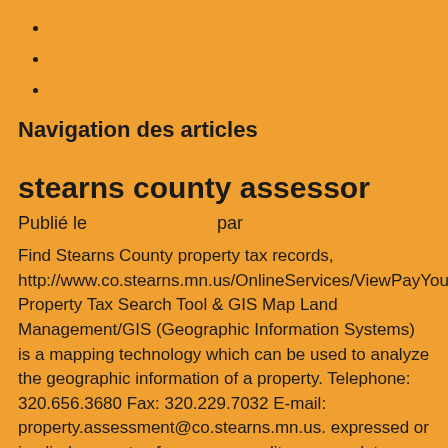Navigation des articles
stearns county assessor
Publié le                    par
Find Stearns County property tax records, http://www.co.stearns.mn.us/OnlineServices/ViewPayYourPropertyT Property Tax Search Tool & GIS Map Land Management/GIS (Geographic Information Systems) is a mapping technology which can be used to analyze the geographic information of a property. Telephone: 320.656.3680 Fax: 320.229.7032 E-mail: property.assessment@co.stearns.mn.us. expressed or implied warranty of accuracy, quality, or completeness for any specific purpose You can call the Stearns County Tax Assessor's Office for assistance at 320-656-3680. Comprehensive Plan. They then estimate the value of the property for taxation purposes. From over 500 local government organizations. The Stearns County Auditor's